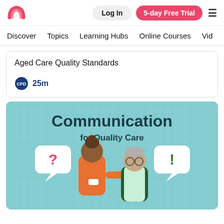[Figure (logo): Rainbow arc logo in pink/red gradient]
Log In
5-day Free Trial
Discover   Topics   Learning Hubs   Online Courses   Vid
Aged Care Quality Standards
25m
[Figure (illustration): Communication for Quality Care illustration showing a nurse in orange scrubs and an elderly man with speech bubbles containing a question mark and exclamation mark on a blue background]